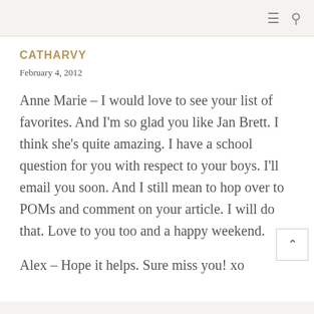≡  🔍
CATHARVY
February 4, 2012
Anne Marie – I would love to see your list of favorites. And I'm so glad you like Jan Brett. I think she's quite amazing. I have a school question for you with respect to your boys. I'll email you soon. And I still mean to hop over to POMs and comment on your article. I will do that. Love to you too and a happy weekend.
Alex – Hope it helps. Sure miss you! xo